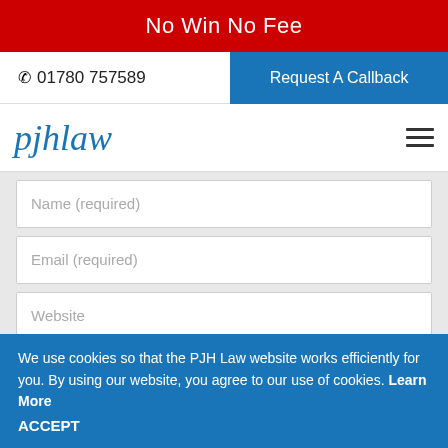No Win No Fee
📞 01780 757589
Request A Callback
pjhlaw
Name (required)
Email (required)
Website
Save my name, email, and website in this browser
We use cookies so that the PJH Law website works efficiently for you. By using our website, you agree to our use of cookies. Learn More
ACCEPT